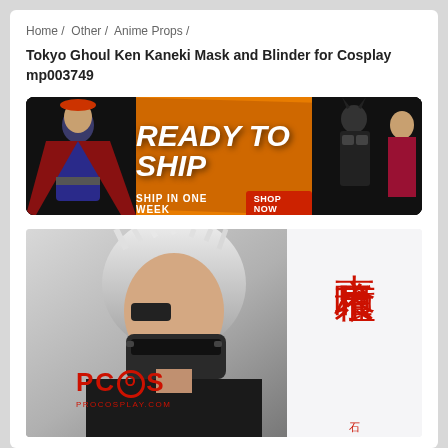Home /  Other /  Anime Props /
Tokyo Ghoul Ken Kaneki Mask and Blinder for Cosplay mp003749
[Figure (photo): Promotional banner for a cosplay shop showing costumed characters in dark setting with orange background, text 'READY TO SHIP', 'SHIP IN ONE WEEK', and 'SHOP NOW' button]
[Figure (photo): Product photo of a person wearing a Tokyo Ghoul Ken Kaneki white wig and black mask cosplay, with PCOS/PROCOSPLAY.COM logo watermark and Japanese text (Tokyo Ghoul kanji) on the right side panel]